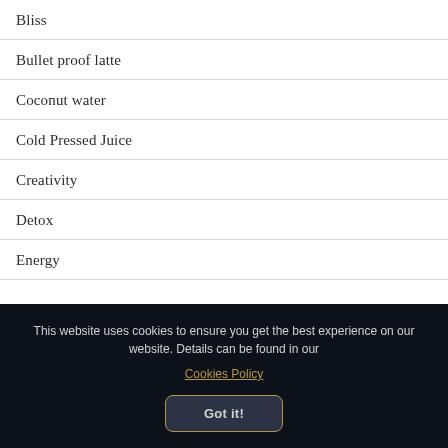Bliss
Bullet proof latte
Coconut water
Cold Pressed Juice
Creativity
Detox
Energy
This website uses cookies to ensure you get the best experience on our website. Details can be found in our Cookies Policy
Got it!